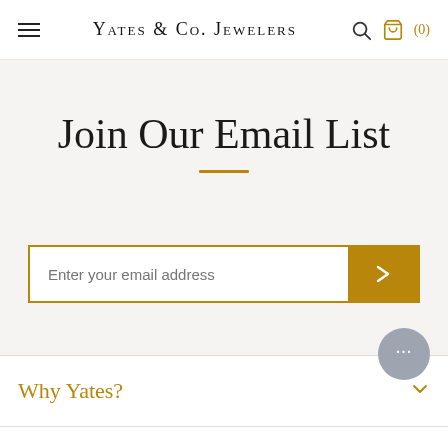Yates & Co. Jewelers
Join Our Email List
Enter your email address
Why Yates?
Services